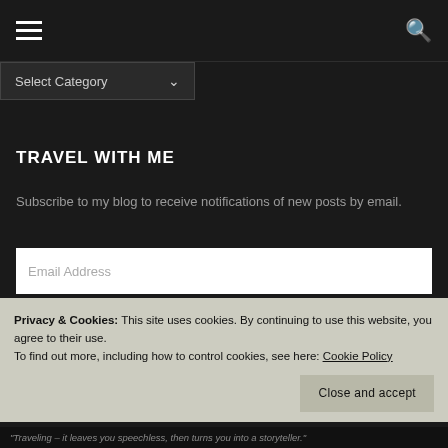☰  🔍
Select Category
TRAVEL WITH ME
Subscribe to my blog to receive notifications of new posts by email.
Email Address
GO!
Privacy & Cookies: This site uses cookies. By continuing to use this website, you agree to their use.
To find out more, including how to control cookies, see here: Cookie Policy
Close and accept
"Traveling – it leaves you speechless, then turns you into a storyteller."